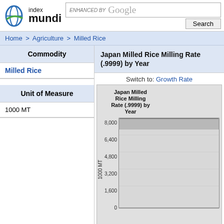[Figure (logo): Index Mundi logo with circular globe icon and text 'index mundi']
ENHANCED BY Google Search
Home > Agriculture > Milled Rice
| Commodity |
| --- |
| Milled Rice |
Japan Milled Rice Milling Rate (.9999) by Year
| Unit of Measure |
| --- |
| 1000 MT |
Switch to: Growth Rate
[Figure (bar-chart): Bar chart showing Japan Milled Rice Milling Rate over years, y-axis from 0 to 8,000 with gridlines at 1,600; 3,200; 4,800; 6,400; 8,000. Data appears to show values around 7,000-7,500 range (partially visible).]